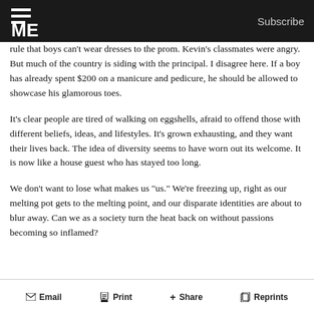ME | Subscribe
rule that boys can't wear dresses to the prom. Kevin's classmates were angry. But much of the country is siding with the principal. I disagree here. If a boy has already spent $200 on a manicure and pedicure, he should be allowed to showcase his glamorous toes.
It's clear people are tired of walking on eggshells, afraid to offend those with different beliefs, ideas, and lifestyles. It's grown exhausting, and they want their lives back. The idea of diversity seems to have worn out its welcome. It is now like a house guest who has stayed too long.
We don't want to lose what makes us "us." We're freezing up, right as our melting pot gets to the melting point, and our disparate identities are about to blur away. Can we as a society turn the heat back on without passions becoming so inflamed?
Email   Print   + Share   Reprints